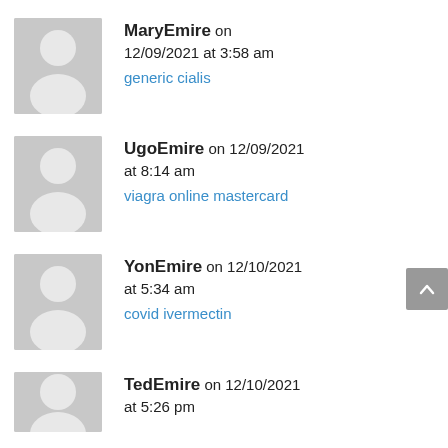MaryEmire on 12/09/2021 at 3:58 am — generic cialis
UgoEmire on 12/09/2021 at 8:14 am — viagra online mastercard
YonEmire on 12/10/2021 at 5:34 am — covid ivermectin
TedEmire on 12/10/2021 at 5:26 pm